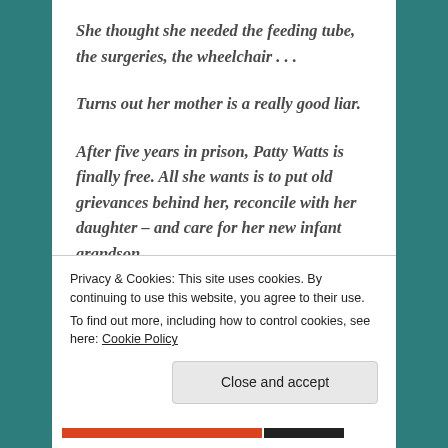She thought she needed the feeding tube, the surgeries, the wheelchair . . .
Turns out her mother is a really good liar.
After five years in prison, Patty Watts is finally free. All she wants is to put old grievances behind her, reconcile with her daughter – and care for her new infant grandson.
When Rose Gold agrees to have Patty move in, it
Privacy & Cookies: This site uses cookies. By continuing to use this website, you agree to their use.
To find out more, including how to control cookies, see here: Cookie Policy
Close and accept